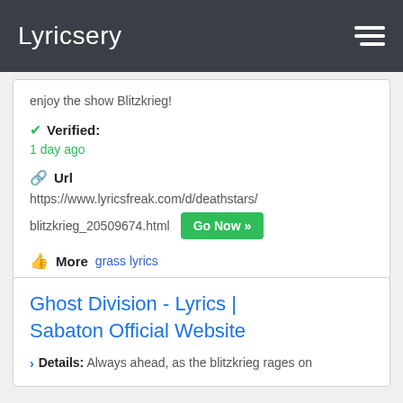Lyricsery
enjoy the show Blitzkrieg!
Verified: 1 day ago
Url https://www.lyricsfreak.com/d/deathstars/ blitzkrieg_20509674.html Go Now >>
More grass lyrics
Ghost Division - Lyrics | Sabaton Official Website
Details: Always ahead, as the blitzkrieg rages on